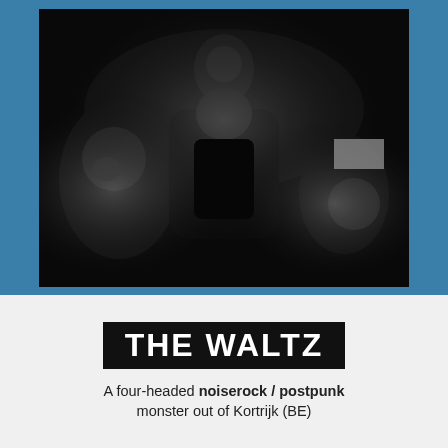[Figure (photo): Black and white band photo of four-member band The Waltz, shot from above, members in dark clothing in dramatic lighting]
THE WALTZ
A four-headed noiserock / postpunk monster out of Kortrijk (BE)